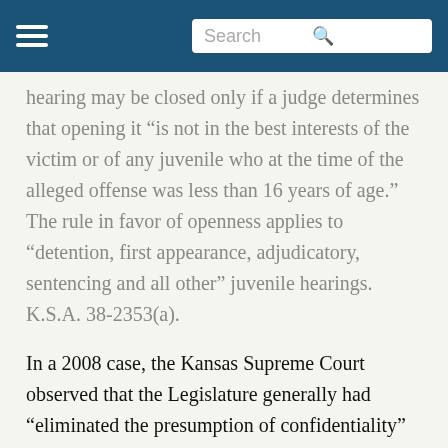Search
hearing may be closed only if a judge determines that opening it “is not in the best interests of the victim or of any juvenile who at the time of the alleged offense was less than 16 years of age.”  The rule in favor of openness applies to “detention, first appearance, adjudicatory, sentencing and all other” juvenile hearings.  K.S.A. 38-2353(a).
In a 2008 case, the Kansas Supreme Court observed that the Legislature generally had “eliminated the presumption of confidentiality” for juvenile hearings, and also acknowledged various ways in which juvenile records have been opened.  In re L.M., 186 P.3d 164, 170 (Kan. 2008) (citing K.S.A.